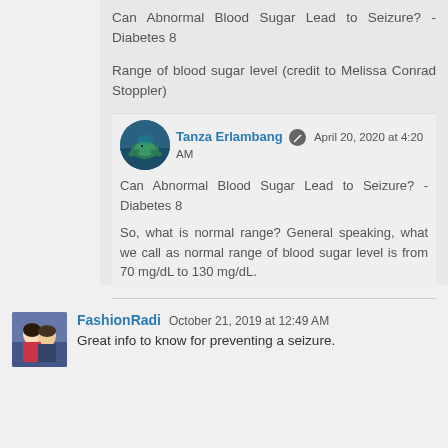Can Abnormal Blood Sugar Lead to Seizure? - Diabetes 8
Range of blood sugar level (credit to Melissa Conrad Stoppler)
Tanza Erlambang
April 20, 2020 at 4:20 AM
Can Abnormal Blood Sugar Lead to Seizure? - Diabetes 8
So, what is normal range? General speaking, what we call as normal range of blood sugar level is from 70 mg/dL to 130 mg/dL.
Reply
FashionRadi
October 21, 2019 at 12:49 AM
Great info to know for preventing a seizure.